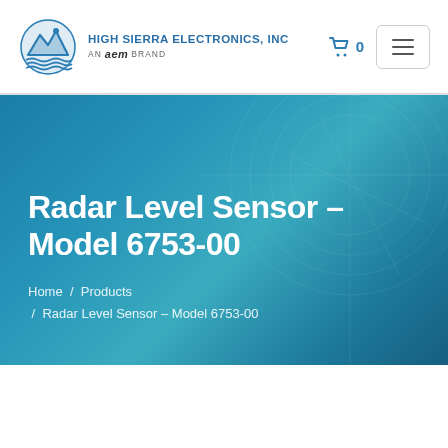HIGH SIERRA ELECTRONICS, INC  AN aem BRAND
Radar Level Sensor – Model 6753-00
Home  /  Products  /  Radar Level Sensor – Model 6753-00